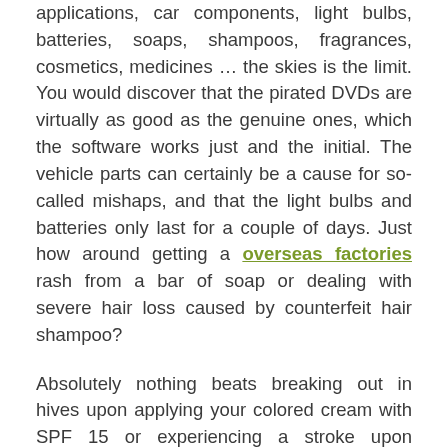applications, car components, light bulbs, batteries, soaps, shampoos, fragrances, cosmetics, medicines … the skies is the limit. You would discover that the pirated DVDs are virtually as good as the genuine ones, which the software works just and the initial. The vehicle parts can certainly be a cause for so-called mishaps, and that the light bulbs and batteries only last for a couple of days. Just how around getting a overseas factories rash from a bar of soap or dealing with severe hair loss caused by counterfeit hair shampoo?
Absolutely nothing beats breaking out in hives upon applying your colored cream with SPF 15 or experiencing a stroke upon swallowing a dosage of fake Viagra. Some customers are fully